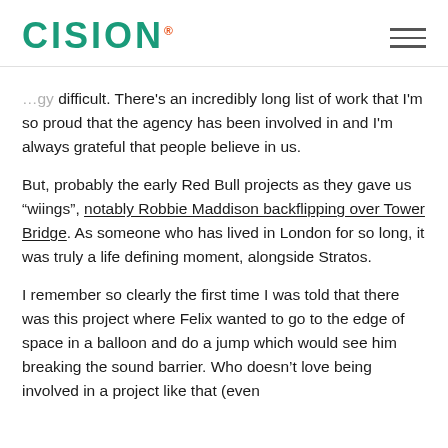CISION
difficult. There's an incredibly long list of work that I'm so proud that the agency has been involved in and I'm always grateful that people believe in us.
But, probably the early Red Bull projects as they gave us “wiings”, notably Robbie Maddison backflipping over Tower Bridge. As someone who has lived in London for so long, it was truly a life defining moment, alongside Stratos.
I remember so clearly the first time I was told that there was this project where Felix wanted to go to the edge of space in a balloon and do a jump which would see him breaking the sound barrier. Who doesn’t love being involved in a project like that (even